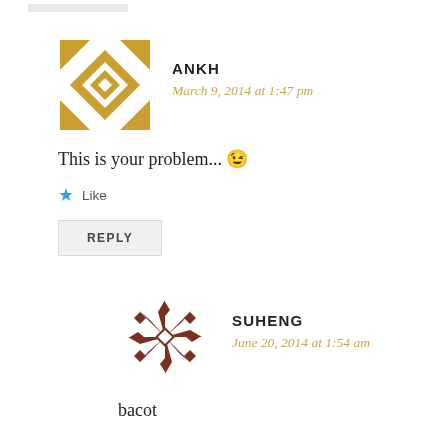[Figure (illustration): User avatar for ANKH - decorative geometric quilt-pattern avatar in gold/yellow colors]
ANKH
March 9, 2014 at 1:47 pm
This is your problem... 😉
★ Like
REPLY
[Figure (illustration): User avatar for SUHENG - decorative geometric quilt-pattern avatar in dark brown/maroon colors]
SUHENG
June 20, 2014 at 1:54 am
bacot